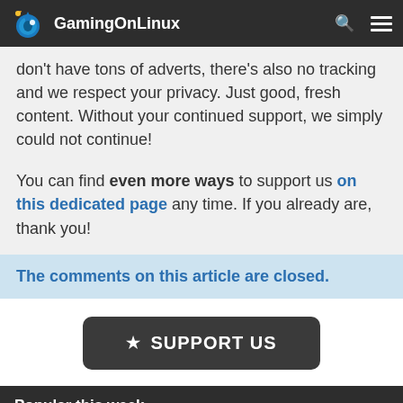GamingOnLinux
don't have tons of adverts, there's also no tracking and we respect your privacy. Just good, fresh content. Without your continued support, we simply could not continue!
You can find even more ways to support us on this dedicated page any time. If you already are, thank you!
The comments on this article are closed.
★ SUPPORT US
Popular this week
Steam Deck Verified and Playable hits 5,000